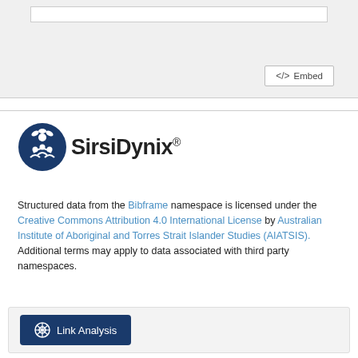[Figure (screenshot): Top section with input box and Embed button on grey background]
[Figure (logo): SirsiDynix logo with blue circle icon and bold SirsiDynix text with registered trademark]
Structured data from the Bibframe namespace is licensed under the Creative Commons Attribution 4.0 International License by Australian Institute of Aboriginal and Torres Strait Islander Studies (AIATSIS). Additional terms may apply to data associated with third party namespaces.
[Figure (screenshot): Link Analysis button in a light grey box]